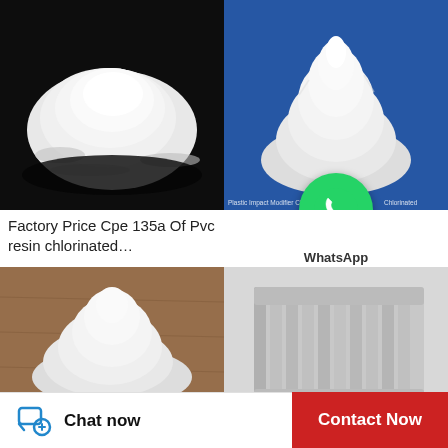[Figure (photo): White powder on black background - CPE 135A product photo]
Factory Price Cpe 135a Of Pvc resin chlorinated…
[Figure (photo): White powder heap on blue background - Plastic Impact Modifier CPE 135A photo with WhatsApp overlay badge]
Plastic Impact Modifier CPE 135A Chlorinated…
[Figure (photo): White powder on brown wooden surface]
[Figure (photo): Grey/white packaged bags or rolls product photo]
Chat now
Contact Now